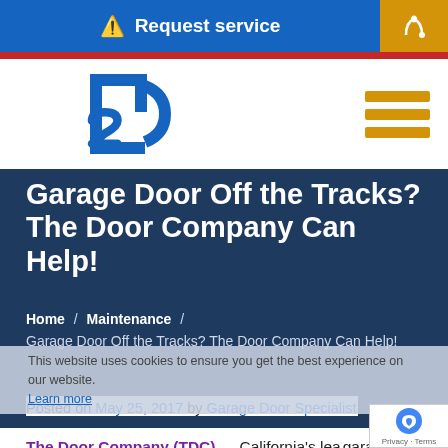Request service
[Figure (logo): The Door Company logo — stylized 'D' and '2' letterform in blue]
Garage Door Off the Tracks? The Door Company Can Help!
Home / Maintenance / Garage Door Off the Tracks? The Door Company Can Help!
This website uses cookies to ensure you get the best experience on our website.
Learn more
Posted on May 25, 2017 by Garage Door Specialist
The Door Company (TDC) — California's leading garage door company – has been providing